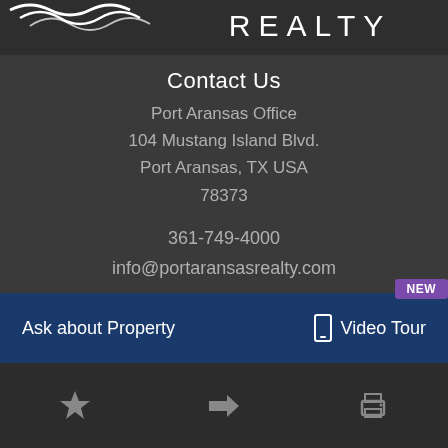[Figure (logo): Port Aransas Realty logo with wave/bird graphic and 'REALTY' text in white on dark background]
Contact Us
Port Aransas Office
104 Mustang Island Blvd.
Port Aransas, TX USA
78373
361-749-4000
info@portaransasrealty.com
Ask about Property
Video Tour
[Figure (infographic): NEW badge in purple, phone/mobile icon, star icon, share/forward icon, print icon in bottom toolbar]